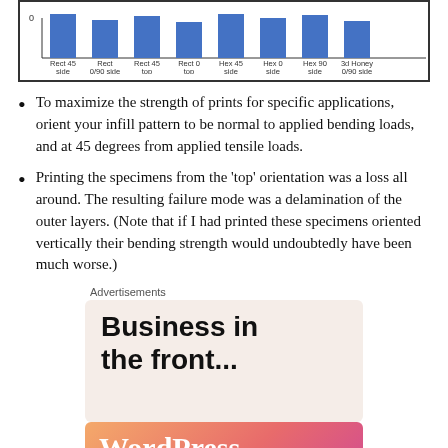[Figure (bar-chart): Top portion of a bar chart showing infill pattern comparisons, clipped at top of page]
To maximize the strength of prints for specific applications, orient your infill pattern to be normal to applied bending loads, and at 45 degrees from applied tensile loads.
Printing the specimens from the ‘top’ orientation was a loss all around. The resulting failure mode was a delamination of the outer layers. (Note that if I had printed these specimens oriented vertically their bending strength would undoubtedly have been much worse.)
Advertisements
[Figure (illustration): Advertisement banner reading 'Business in the front...' with WordPress logo below on an orange-pink gradient background]